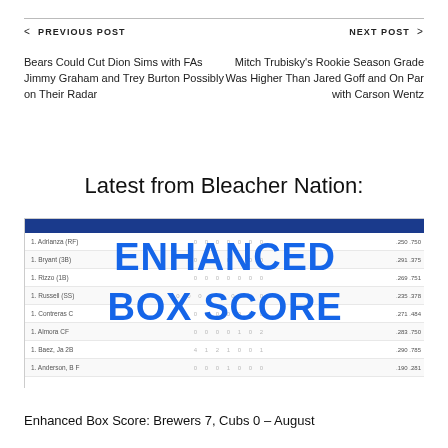< PREVIOUS POST   NEXT POST >
Bears Could Cut Dion Sims with FAs Jimmy Graham and Trey Burton Possibly on Their Radar
Mitch Trubisky's Rookie Season Grade Was Higher Than Jared Goff and On Par with Carson Wentz
Latest from Bleacher Nation:
[Figure (screenshot): Enhanced Box Score screenshot showing a baseball stats table with blue header row and player statistics, overlaid with large blue text reading ENHANCED BOX SCORE]
Enhanced Box Score: Brewers 7, Cubs 0 – August